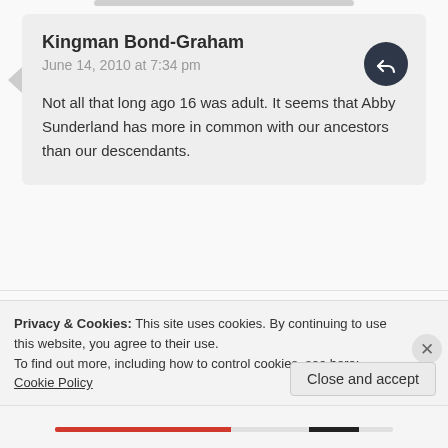Kingman Bond-Graham
June 14, 2010 at 7:34 pm
Not all that long ago 16 was adult. It seems that Abby Sunderland has more in common with our ancestors than our descendants.
Leave a Reply
Your email address will not be published. Required
Privacy & Cookies: This site uses cookies. By continuing to use this website, you agree to their use.
To find out more, including how to control cookies, see here: Cookie Policy
Close and accept